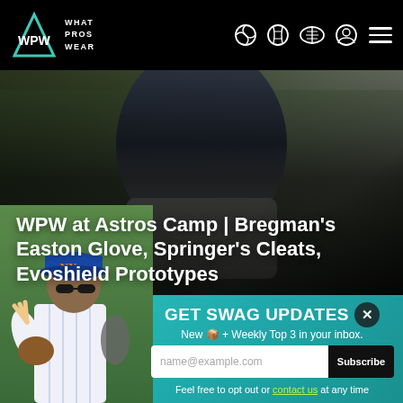WPW WHAT PROS WEAR
[Figure (photo): Close-up photo of a baseball player's torso in a dark blue uniform, blurred background of a baseball field]
WPW at Astros Camp | Bregman's Easton Glove, Springer's Cleats, Evoshield Prototypes
[Figure (photo): Photo of a New York Mets baseball player wearing blue cap with NY logo, sunglasses, holding a glove and making a peace sign, overlaid on teal background]
GET SWAG UPDATES ✕
New 📦 + Weekly Top 3 in your inbox.
name@example.com
Subscribe
Feel free to opt out or contact us at any time